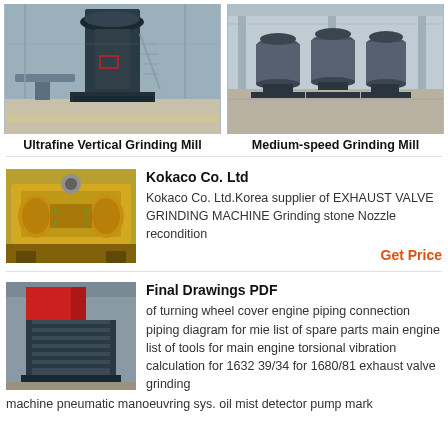[Figure (photo): Ultrafine Vertical Grinding Mill in industrial warehouse setting]
[Figure (photo): Multiple Medium-speed Grinding Mills lined up in a factory]
Ultrafine Vertical Grinding Mill
Medium-speed Grinding Mill
[Figure (photo): Yellow heavy machinery - exhaust valve grinding machine]
Kokaco Co. Ltd
Kokaco Co. Ltd.Korea supplier of EXHAUST VALVE GRINDING MACHINE Grinding stone Nozzle recondition
Get Price
[Figure (photo): Industrial machinery with red and grey components - Final Drawings PDF related equipment]
Final Drawings PDF
of turning wheel cover engine piping connection piping diagram for mie list of spare parts main engine list of tools for main engine torsional vibration calculation for 1632 39/34 for 1680/81 exhaust valve grinding machine pneumatic manoeuvring sys. oil mist detector pump mark